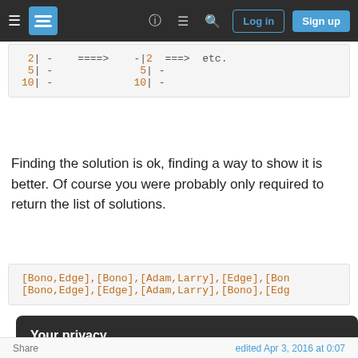Stack Exchange navigation bar with hamburger menu, logo, help, chat, search icons, Log in and Sign up buttons
[Figure (screenshot): Code block showing ASCII diagram with numbers 2, 5, 10 and dashes, arrows (====>, ===>), and 'etc.']
Finding the solution is ok, finding a way to show it is better. Of course you were probably only required to return the list of solutions.
[Figure (screenshot): Code block showing: [Bono,Edge],[Bono],[Adam,Larry],[Edge],[Bon... [Bono,Edge],[Edge],[Adam,Larry],[Bono],[Edg...]
Your privacy
By clicking "Accept all cookies", you agree Stack Exchange can store cookies on your device and disclose information in accordance with our Cookie Policy.
Accept all cookies    Customize settings
Share    edited Apr 3, 2016 at 0:07